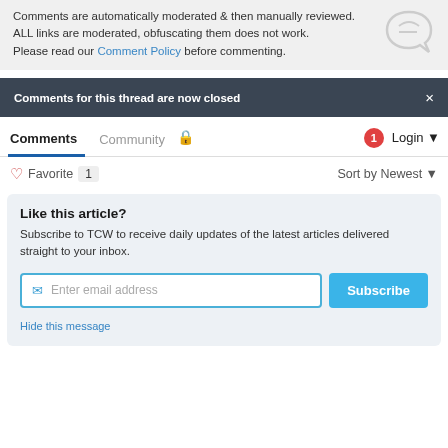Comments are automatically moderated & then manually reviewed. ALL links are moderated, obfuscating them does not work. Please read our Comment Policy before commenting.
Comments for this thread are now closed
Comments  Community  Login
Favorite 1  Sort by Newest
Like this article?
Subscribe to TCW to receive daily updates of the latest articles delivered straight to your inbox.
Enter email address
Subscribe
Hide this message